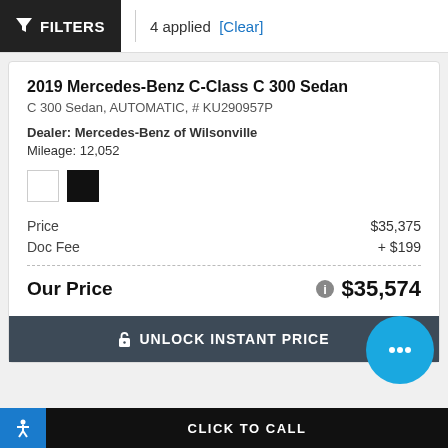FILTERS | 4 applied [Clear]
2019 Mercedes-Benz C-Class C 300 Sedan
C 300 Sedan, AUTOMATIC, # KU290957P
Dealer: Mercedes-Benz of Wilsonville
Mileage: 12,052
[Figure (other): Two color swatches: white and black]
|  |  |
| --- | --- |
| Price | $35,375 |
| Doc Fee | + $199 |
Our Price  $35,574
UNLOCK INSTANT PRICE
CLICK TO CALL